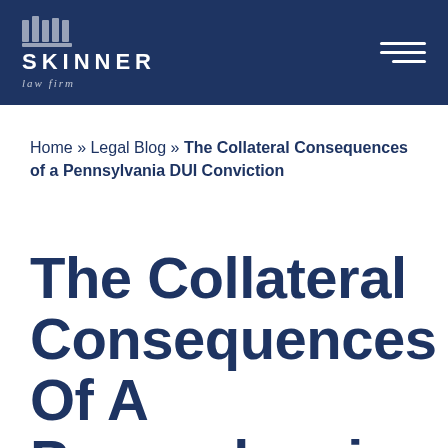SKINNER law firm
Home » Legal Blog » The Collateral Consequences of a Pennsylvania DUI Conviction
The Collateral Consequences Of A Pennsylvania DUI Conviction